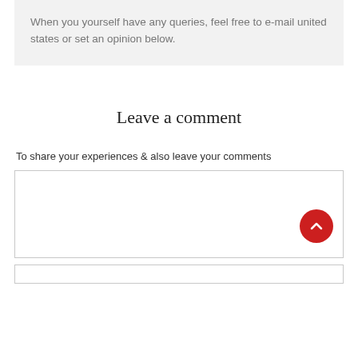When you yourself have any queries, feel free to e-mail united states or set an opinion below.
Leave a comment
To share your experiences & also leave your comments
[Figure (other): Empty comment text area input box with a red circular scroll-to-top button with a chevron up arrow icon in the bottom right corner]
[Figure (other): Empty text input field]